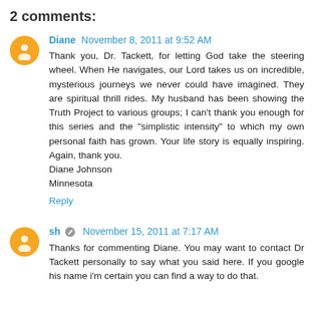2 comments:
Diane November 8, 2011 at 9:52 AM
Thank you, Dr. Tackett, for letting God take the steering wheel. When He navigates, our Lord takes us on incredible, mysterious journeys we never could have imagined. They are spiritual thrill rides. My husband has been showing the Truth Project to various groups; I can't thank you enough for this series and the "simplistic intensity" to which my own personal faith has grown. Your life story is equally inspiring. Again, thank you.
Diane Johnson
Minnesota
Reply
sh November 15, 2011 at 7:17 AM
Thanks for commenting Diane. You may want to contact Dr Tackett personally to say what you said here. If you google his name i'm certain you can find a way to do that.